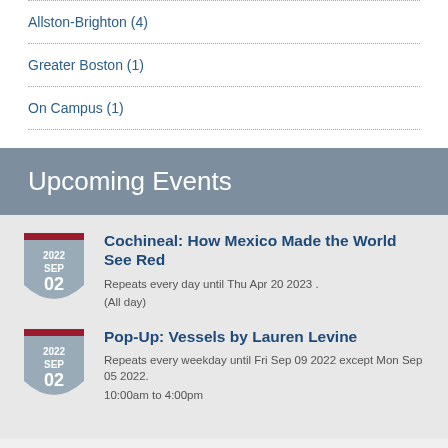Allston-Brighton (4)
Greater Boston (1)
On Campus (1)
Upcoming Events
Cochineal: How Mexico Made the World See Red
Repeats every day until Thu Apr 20 2023 .
(All day)
Pop-Up: Vessels by Lauren Levine
Repeats every weekday until Fri Sep 09 2022 except Mon Sep 05 2022.
10:00am to 4:00pm